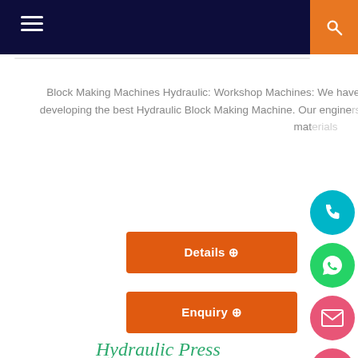Navigation header with hamburger menu and search icon
Block Making Machines Hydraulic: Workshop Machines: We have been able to hold all the aces in designing and developing the best Hydraulic Block Making Machine. Our engineers develop these machines using high-grade basic mat...
Details →
Enquiry →
Hydraulic Press